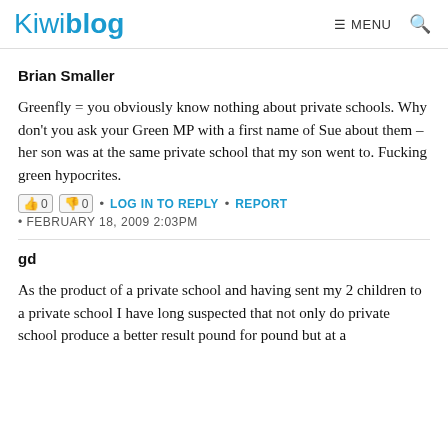Kiwiblog  ☰ MENU  🔍
Brian Smaller
Greenfly = you obviously know nothing about private schools. Why don't you ask your Green MP with a first name of Sue about them – her son was at the same private school that my son went to. Fucking green hypocrites.
0  0  •  LOG IN TO REPLY  •  REPORT
•  FEBRUARY 18, 2009 2:03PM
gd
As the product of a private school and having sent my 2 children to a private school I have long suspected that not only do private school produce a better result pound for pound but at a